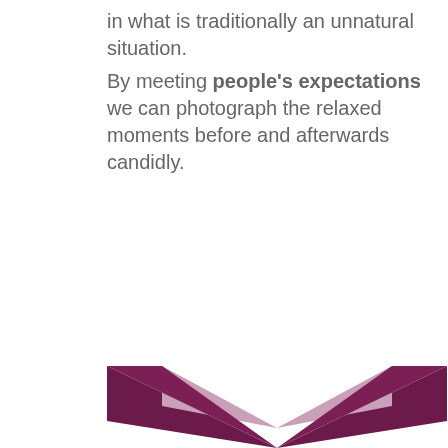in what is traditionally an unnatural situation.
By meeting people's expectations we can photograph the relaxed moments before and afterwards candidly.
[Figure (illustration): Purple and mauve chevron/arrow shapes pointing downward at the bottom of the page]